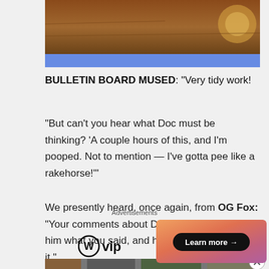[Figure (photo): Photo of a pile of autumn leaves being raked onto a blue tarp, with a fan rake visible at the upper right]
BULLETIN BOARD MUSED: "Very tidy work!
“But can’t you hear what Doc must be thinking? ‘A couple hours of this, and I’m pooped. Not to mention — I’ve gotta pee like a rakehorse!’”
We presently heard, once again, from OG Fox: “Your comments about Doc were terrific. I told him what you said, and he got a big kick out of it.”
[Figure (photo): Partial photo at bottom of article, partially cropped]
Advertisements
[Figure (logo): WordPress VIP logo with W circle icon and 'vip' text]
[Figure (infographic): Colorful gradient advertisement banner with 'Learn more' button]